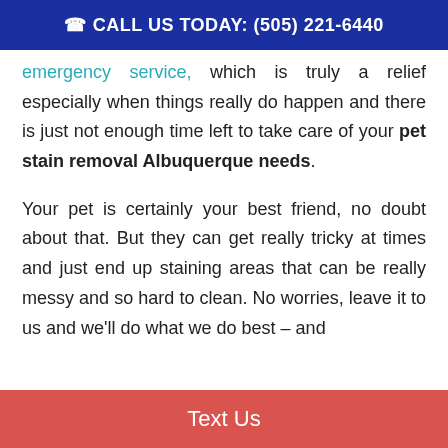CALL US TODAY: (505) 221-6440
emergency service, which is truly a relief especially when things really do happen and there is just not enough time left to take care of your pet stain removal Albuquerque needs.
Your pet is certainly your best friend, no doubt about that. But they can get really tricky at times and just end up staining areas that can be really messy and so hard to clean. No worries, leave it to us and we'll do what we do best – and
Text Us